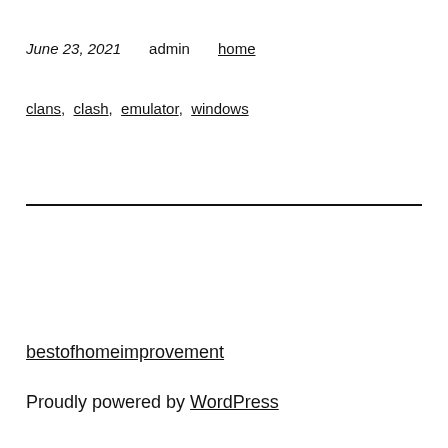June 23, 2021   admin   home
clans, clash, emulator, windows
bestofhomeimprovement
Proudly powered by WordPress